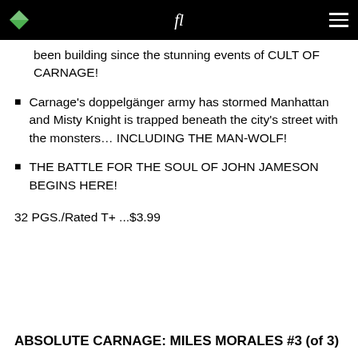been building since the stunning events of CULT OF CARNAGE!
Carnage's doppelgänger army has stormed Manhattan and Misty Knight is trapped beneath the city's street with the monsters… INCLUDING THE MAN-WOLF!
THE BATTLE FOR THE SOUL OF JOHN JAMESON BEGINS HERE!
32 PGS./Rated T+ ...$3.99
ABSOLUTE CARNAGE: MILES MORALES #3 (of 3)